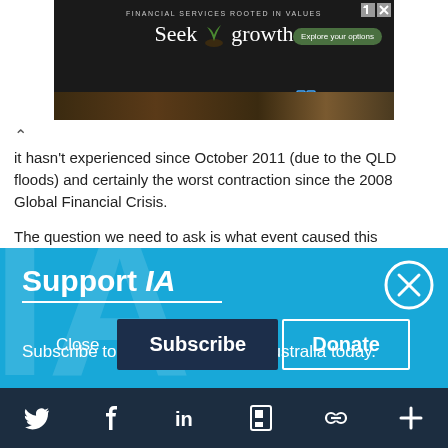[Figure (screenshot): Advertisement banner for Everence financial services. Text reads 'FINANCIAL SERVICES ROOTED IN VALUES', 'Seek growth', with a plant sprout image, 'Explore your options' button, and Everence logo.]
it hasn't experienced since October 2011 (due to the QLD floods) and certainly the worst contraction since the 2008 Global Financial Crisis.

The question we need to ask is what event caused this
Support IA
Subscribe to IA and investigate Australia today.
Close   Subscribe   Donate